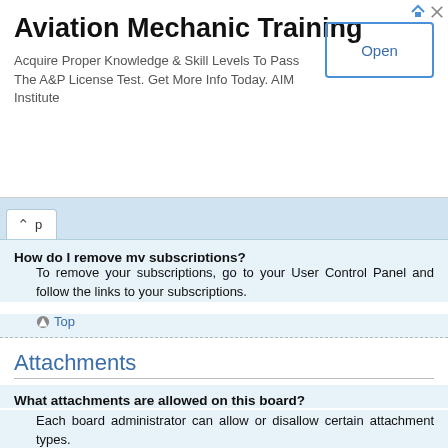[Figure (screenshot): Advertisement banner for Aviation Mechanic Training by AIM Institute with an Open button]
p (navigation tab with up arrow)
How do I remove my subscriptions?
To remove your subscriptions, go to your User Control Panel and follow the links to your subscriptions.
Top
Attachments
What attachments are allowed on this board?
Each board administrator can allow or disallow certain attachment types. If you are unsure what is allowed to be uploaded, contact the board administrator for assistance.
Top
How do I find all my attachments?
To find your list of attachments that you have uploaded, go to